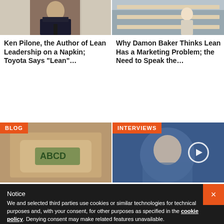[Figure (photo): Person in suit at a desk or podium, blurred background]
[Figure (photo): Person in warehouse or industrial setting]
Ken Pilone, the Author of Lean Leadership on a Napkin; Toyota Says “Lean”…
Why Damon Baker Thinks Lean Has a Marketing Problem; the Need to Speak the…
[Figure (photo): Blog card: stamp image with BLOG badge overlay]
[Figure (photo): Interviews card: person image with INTERVIEWS badge and play button]
Notice
We and selected third parties use cookies or similar technologies for technical purposes and, with your consent, for other purposes as specified in the cookie policy. Denying consent may make related features unavailable.
You can consent to the use of such technologies by closing this notice, by scrolling this page, by interacting with any link or button outside of this notice or by continuing to browse otherwise.